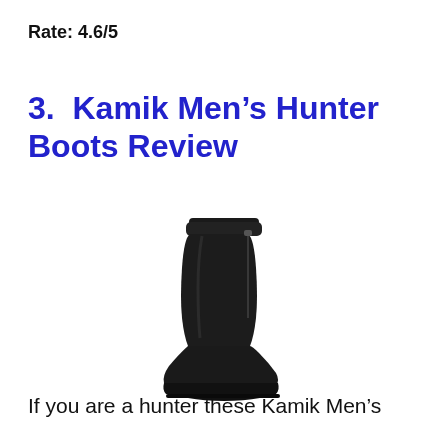Rate: 4.6/5
3.  Kamik Men’s Hunter Boots Review
[Figure (photo): A tall black Kamik Men's Hunter Boot shown from a side-front angle, with a zipper visible at the top, on a white background.]
If you are a hunter these Kamik Men’s shoes are a gift for you. Because they